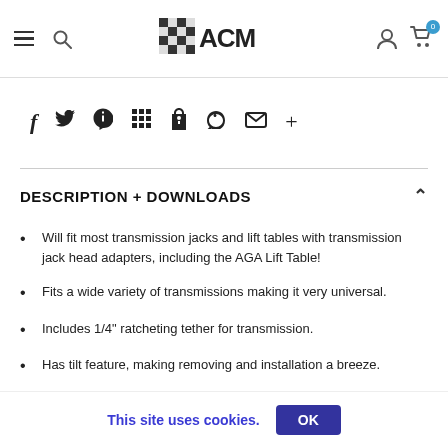AGM logo, navigation header with hamburger menu, search, user icon, cart (0)
[Figure (logo): ACM/AGM logo with checkered flag pattern in center of header]
f y p # bookmark heart mail +
DESCRIPTION + DOWNLOADS
Will fit most transmission jacks and lift tables with transmission jack head adapters, including the AGA Lift Table!
Fits a wide variety of transmissions making it very universal.
Includes 1/4" ratcheting tether for transmission.
Has tilt feature, making removing and installation a breeze.
This site uses cookies. OK